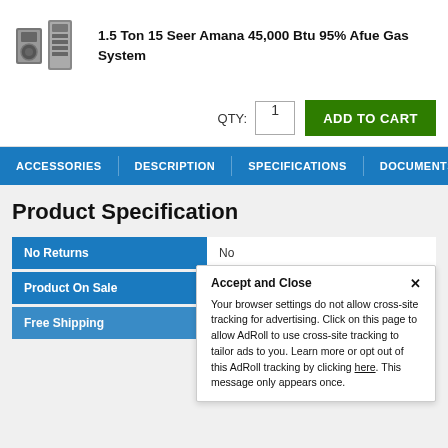[Figure (photo): Product image of an HVAC gas system (outdoor condenser unit and indoor furnace unit)]
1.5 Ton 15 Seer Amana 45,000 Btu 95% Afue Gas System
QTY: 1  ADD TO CART
ACCESSORIES  DESCRIPTION  SPECIFICATIONS  DOCUMENTS  P
Product Specification
| Attribute | Value |
| --- | --- |
| No Returns | No |
| Product On Sale | No |
| Free Shipping | Free Shipping |
Accept and Close ✕
Your browser settings do not allow cross-site tracking for advertising. Click on this page to allow AdRoll to use cross-site tracking to tailor ads to you. Learn more or opt out of this AdRoll tracking by clicking here. This message only appears once.